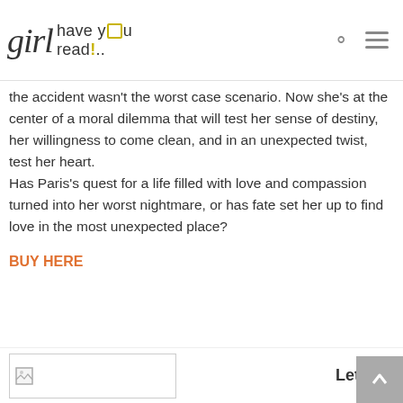girl have you read...
the accident wasn't the worst case scenario. Now she's at the center of a moral dilemma that will test her sense of destiny, her willingness to come clean, and in an unexpected twist, test her heart.
Has Paris's quest for a life filled with love and compassion turned into her worst nightmare, or has fate set her up to find love in the most unexpected place?
BUY HERE
[Figure (screenshot): Bottom strip with a placeholder image thumbnail on the left and 'Let Me' text on the right, plus a scroll-to-top button in the corner]
Let Me